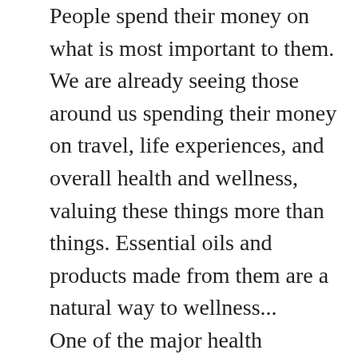People spend their money on what is most important to them. We are already seeing those around us spending their money on travel, life experiences, and overall health and wellness, valuing these things more than things. Essential oils and products made from them are a natural way to wellness... One of the major health stressors- that you have complete control over- is your toxic load from the chemicals in the products you use... An average adult is exposed to more than 700,000 different toxic chemicals on a daily basis. Toxic chemicals are found in our water, the air we breathe, the clothing we wear, the carpet we walk on and the plastics that surround us. By eliminating unsafe products like shampoo's, conditioners, lotions, face care products, candles and cleaners, and replacing it with safer,